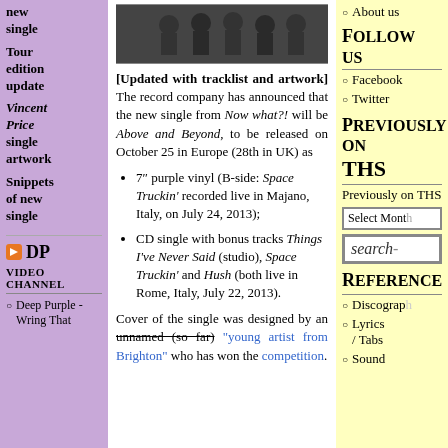new single
Tour edition update
Vincent Price single artwork
Snippets of new single
DP VIDEO CHANNEL
Deep Purple - Wring That
[Figure (photo): Black and white photo of a music band]
[Updated with tracklist and artwork] The record company has announced that the new single from Now what?! will be Above and Beyond, to be released on October 25 in Europe (28th in UK) as
7" purple vinyl (B-side: Space Truckin' recorded live in Majano, Italy, on July 24, 2013);
CD single with bonus tracks Things I've Never Said (studio), Space Truckin' and Hush (both live in Rome, Italy, July 22, 2013).
Cover of the single was designed by an unnamed (so far) "young artist from Brighton" who has won the competition.
About us
Follow us
Facebook
Twitter
Previously on THS
Previously on THS
Select Month
search
Reference
Discography
Lyrics / Tabs
Sound